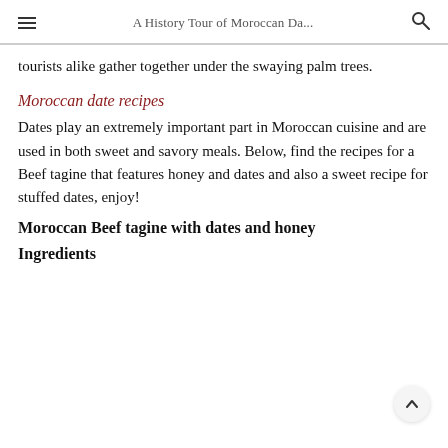A History Tour of Moroccan Da...
tourists alike gather together under the swaying palm trees.
Moroccan date recipes
Dates play an extremely important part in Moroccan cuisine and are used in both sweet and savory meals. Below, find the recipes for a Beef tagine that features honey and dates and also a sweet recipe for stuffed dates, enjoy!
Moroccan Beef tagine with dates and honey
Ingredients